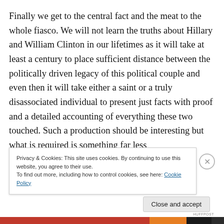Finally we get to the central fact and the meat to the whole fiasco. We will not learn the truths about Hillary and William Clinton in our lifetimes as it will take at least a century to place sufficient distance between the politically driven legacy of this political couple and even then it will take either a saint or a truly disassociated individual to present just facts with proof and a detailed accounting of everything these two touched. Such a production should be interesting but what is required is something far less
Privacy & Cookies: This site uses cookies. By continuing to use this website, you agree to their use.
To find out more, including how to control cookies, see here: Cookie Policy
Close and accept